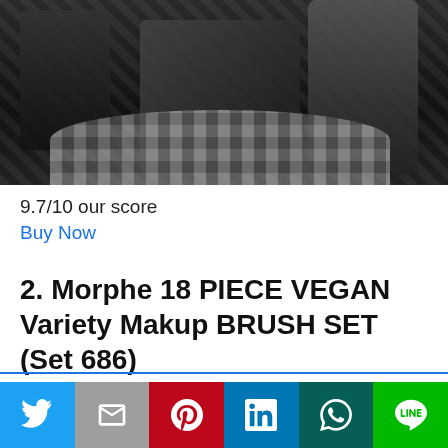[Figure (photo): Black and white photo of people sitting around a table with a checkered tablecloth]
9.7/10 our score
Buy Now
2. Morphe 18 PIECE VEGAN Variety Makup BRUSH SET (Set 686)
This website uses cookies.
[Figure (infographic): Social media share buttons bar: Twitter, Gmail, Pinterest, LinkedIn, WhatsApp, LINE]